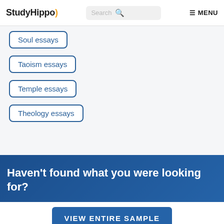StudyHippo | Search | MENU
Soul essays
Taoism essays
Temple essays
Theology essays
Haven't found what you were looking for?
VIEW ENTIRE SAMPLE
Join StudyHippo to see entire essay